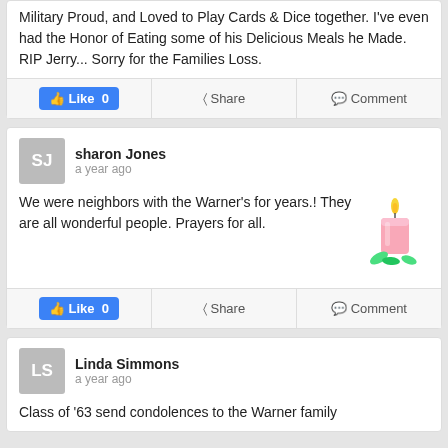Military Proud, and Loved to Play Cards & Dice together. I've even had the Honor of Eating some of his Delicious Meals he Made. RIP Jerry... Sorry for the Families Loss.
Like 0 | Share | Comment
sharon Jones
a year ago
We were neighbors with the Warner's for years.! They are all wonderful people. Prayers for all.
Like 0 | Share | Comment
Linda Simmons
a year ago
Class of '63 send condolences to the Warner family